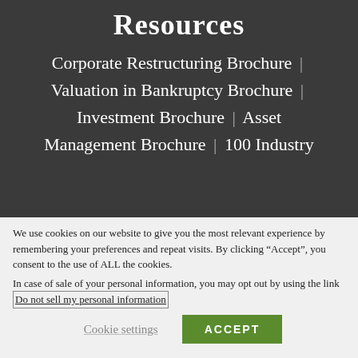Resources
Corporate Restructuring Brochure | Valuation in Bankruptcy Brochure | Investment Brochure | Asset Management Brochure | 100 Industry
We use cookies on our website to give you the most relevant experience by remembering your preferences and repeat visits. By clicking “Accept”, you consent to the use of ALL the cookies.
In case of sale of your personal information, you may opt out by using the link Do not sell my personal information
Cookie settings
ACCEPT